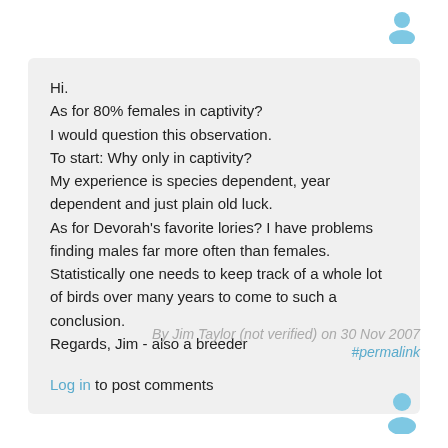[Figure (illustration): User avatar icon (blue silhouette person) at top right]
Hi.
As for 80% females in captivity?
I would question this observation.
To start: Why only in captivity?
My experience is species dependent, year dependent and just plain old luck.
As for Devorah's favorite lories? I have problems finding males far more often than females.
Statistically one needs to keep track of a whole lot of birds over many years to come to such a conclusion.
Regards, Jim - also a breeder
Log in to post comments
By Jim Taylor (not verified) on 30 Nov 2007
#permalink
[Figure (illustration): User avatar icon (blue silhouette person) at bottom right]